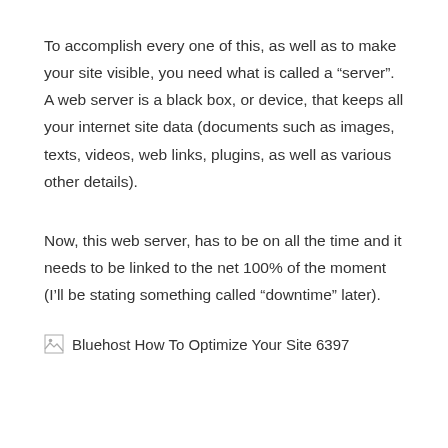To accomplish every one of this, as well as to make your site visible, you need what is called a “server”. A web server is a black box, or device, that keeps all your internet site data (documents such as images, texts, videos, web links, plugins, as well as various other details).
Now, this web server, has to be on all the time and it needs to be linked to the net 100% of the moment (I’ll be stating something called “downtime” later).
[Figure (other): Broken image placeholder with alt text: Bluehost How To Optimize Your Site 6397]